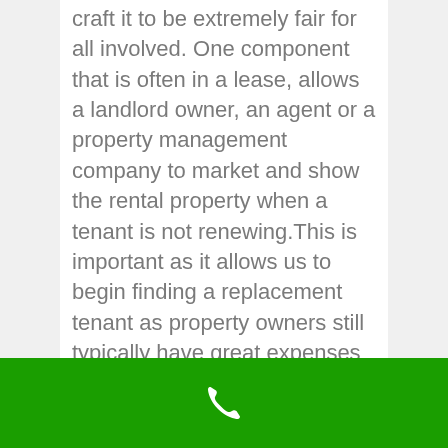craft it to be extremely fair for all involved. One component that is often in a lease, allows a landlord owner, an agent or a property management company to market and show the rental property when a tenant is not renewing.This is important as it allows us to begin finding a replacement tenant as property owners still typically have great expenses on the property, whether it is vacant or not.But once a replacement tenant is found, and a new lease is signed, we don't typically have the right to re-enter the unit without a valid reason.
[Figure (illustration): White phone handset icon on a green background bar at the bottom of the page]